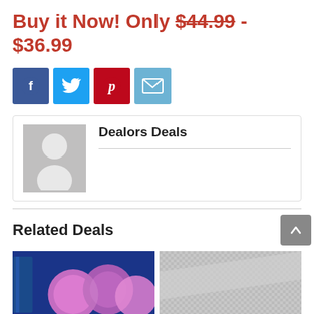Buy it Now! Only $44.99 - $36.99
[Figure (infographic): Social share buttons: Facebook (blue), Twitter (cyan), Pinterest (red), Email (light blue)]
Dealors Deals
Related Deals
[Figure (photo): Product image of LED strip lights with colorful glowing balls on dark blue background]
[Figure (photo): Product image of a gray textured surface or mat]